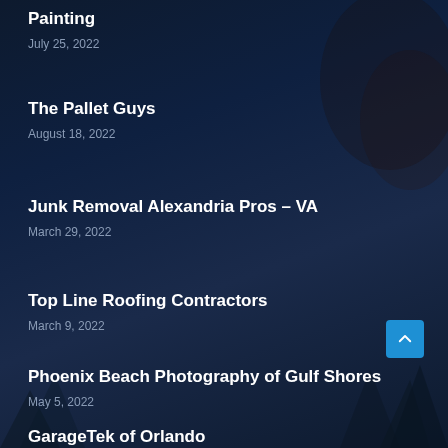Painting
July 25, 2022
The Pallet Guys
August 18, 2022
Junk Removal Alexandria Pros – VA
March 29, 2022
Top Line Roofing Contractors
March 9, 2022
Phoenix Beach Photography of Gulf Shores
May 5, 2022
GarageTek of Orlando